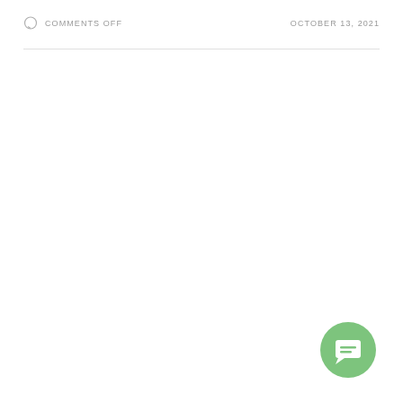COMMENTS OFF | OCTOBER 13, 2021
[Figure (illustration): Green circular chat/message button icon with white speech bubble containing two horizontal lines, positioned in bottom-right corner]